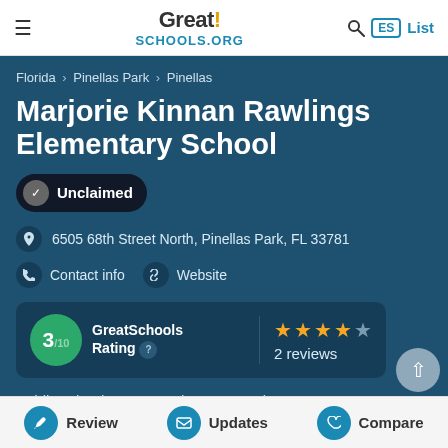[Figure (screenshot): GreatSchools.org website header with hamburger menu, logo, search icon, ES language button, and List link]
Florida › Pinellas Park › Pinellas
Marjorie Kinnan Rawlings Elementary School
✓ Unclaimed
6505 68th Street North, Pinellas Park, FL 33781
Contact info   Website
3/10 GreatSchools Rating  ★★★★☆ 2 reviews
Public school   610 Students   Grades PK-5
Review   Updates   Compare